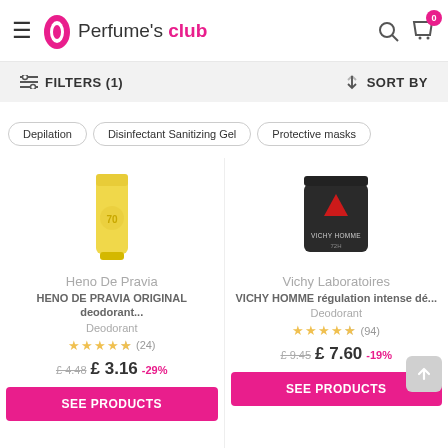Perfume's club
FILTERS (1)   SORT BY
Depilation
Disinfectant Sanitizing Gel
Protective masks
[Figure (photo): Heno De Pravia yellow deodorant stick product image]
Heno De Pravia
HENO DE PRAVIA ORIGINAL deodorant...
Deodorant
★★★★½ (24)
£4.48  £ 3.16  -29%
[Figure (photo): Vichy Laboratoires dark grey deodorant container product image]
Vichy Laboratoires
VICHY HOMME régulation intense dé...
Deodorant
★★★★½ (94)
£9.45  £ 7.60  -19%